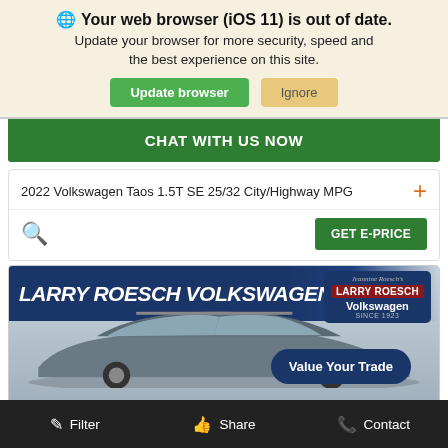Your web browser (iOS 11) is out of date. Update your browser for more security, speed and the best experience on this site.
Update browser | Ignore
CHAT WITH US NOW
2022 Volkswagen Taos 1.5T SE 25/32 City/Highway MPG
GET E-PRICE
[Figure (screenshot): Larry Roesch Volkswagen dealership photo with car and Value Your Trade badge]
Filter | Share | Contact